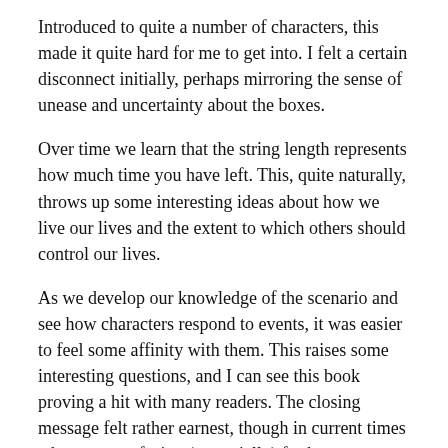Introduced to quite a number of characters, this made it quite hard for me to get into. I felt a certain disconnect initially, perhaps mirroring the sense of unease and uncertainty about the boxes.
Over time we learn that the string length represents how much time you have left. This, quite naturally, throws up some interesting ideas about how we live our lives and the extent to which others should control our lives.
As we develop our knowledge of the scenario and see how characters respond to events, it was easier to feel some affinity with them. This raises some interesting questions, and I can see this book proving a hit with many readers. The closing message felt rather earnest, though in current times where we are facing (potentially) further restrictions it will certainly resonate.